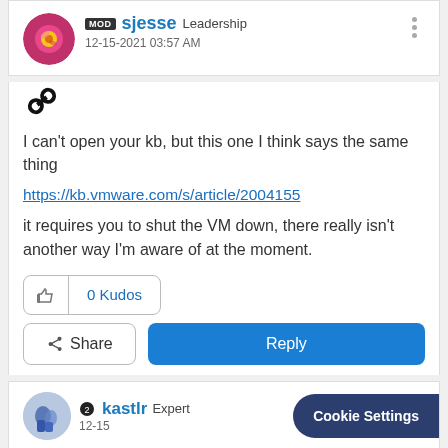MOD sjesse Leadership 12-15-2021 03:57 AM
[Figure (illustration): Link chain icon]
I can't open your kb, but this one I think says the same thing
https://kb.vmware.com/s/article/2004155
it requires you to shut the VM down, there really isn't another way I'm aware of at the moment.
0 Kudos
Share   Reply
kastlr Expert 12-15   Cookie Settings